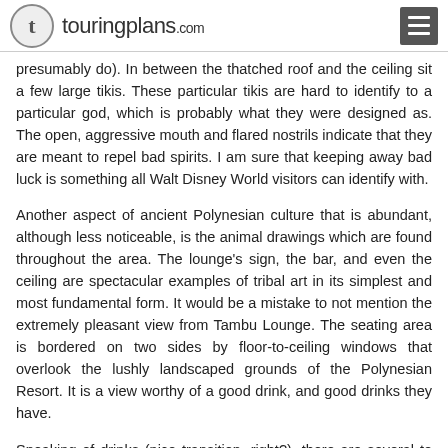touringplans.com
presumably do). In between the thatched roof and the ceiling sit a few large tikis. These particular tikis are hard to identify to a particular god, which is probably what they were designed as. The open, aggressive mouth and flared nostrils indicate that they are meant to repel bad spirits. I am sure that keeping away bad luck is something all Walt Disney World visitors can identify with.
Another aspect of ancient Polynesian culture that is abundant, although less noticeable, is the animal drawings which are found throughout the area. The lounge's sign, the bar, and even the ceiling are spectacular examples of tribal art in its simplest and most fundamental form. It would be a mistake to not mention the extremely pleasant view from Tambu Lounge. The seating area is bordered on two sides by floor-to-ceiling windows that overlook the lushly landscaped grounds of the Polynesian Resort. It is a view worthy of a good drink, and good drinks they have.
Speaking of drinks (nice transition, right?), there are several to choose from at the Tambu Lounge. They have anelf for...